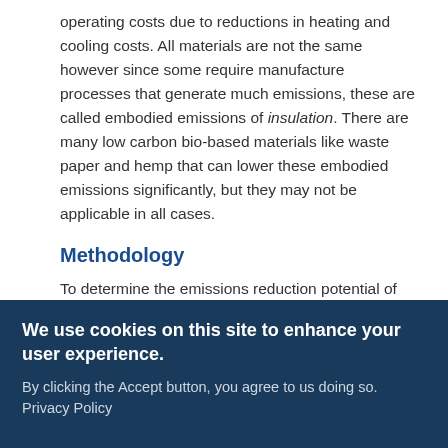operating costs due to reductions in heating and cooling costs. All materials are not the same however since some require manufacture processes that generate much emissions, these are called embodied emissions of insulation. There are many low carbon bio-based materials like waste paper and hemp that can lower these embodied emissions significantly, but they may not be applicable in all cases.
Methodology
To determine the emissions reduction potential of global adoption of high quality insulation in climate appropriate regions, the global stock of buildings was first analyzed to determine a total
We use cookies on this site to enhance your user experience.
By clicking the Accept button, you agree to us doing so. Privacy Policy